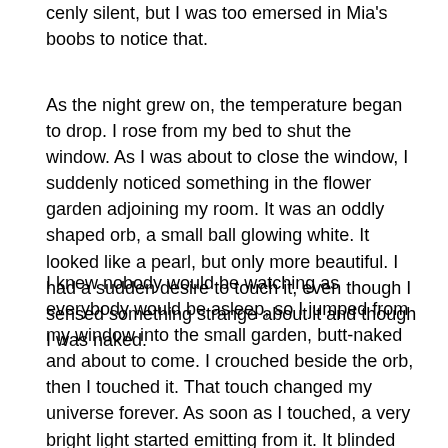cenly silent, but I was too emersed in Mia's boobs to notice that.
As the night grew on, the temperature began to drop. I rose from my bed to shut the window. As I was about to close the window, I suddenly noticed something in the flower garden adjoining my room. It was an oddly shaped orb, a small ball glowing white. It looked like a pearl, but only more beautiful. I had a sudden desire to touch it, even though I sensed something strange about it and though I was naked.
I knew nobody would be watching as everybody would be asleep, so I jumped from my window into the small garden, butt-naked and about to come. I crouched beside the orb, then I touched it. That touch changed my universe forever. As soon as I touched, a very bright light started emitting from it. It blinded me. Then I passed out.
***
The next morning, I woke up with a start. I was in my room. I didn't remember anything about last night. I was on my bed, butt naked. Strange, I remembered that I had slept with my